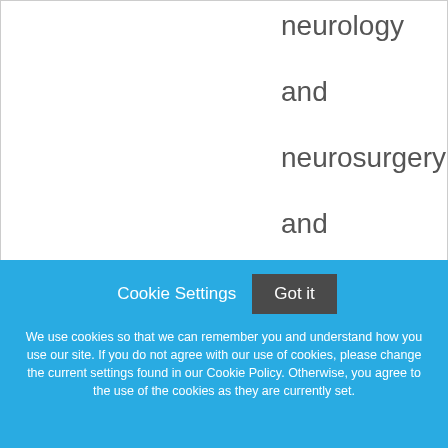neurology and neurosurgery and orthopedics. These accolades, along with many oth...
Cookie Settings   Got it
We use cookies so that we can remember you and understand how you use our site. If you do not agree with our use of cookies, please change the current settings found in our Cookie Policy. Otherwise, you agree to the use of the cookies as they are currently set.